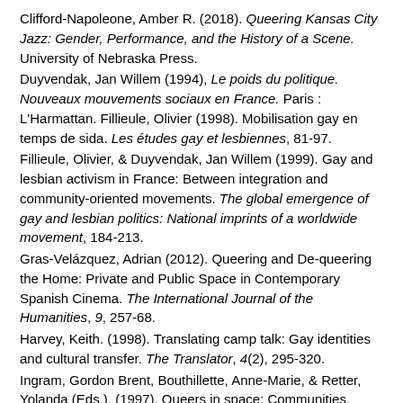Clifford-Napoleone, Amber R. (2018). Queering Kansas City Jazz: Gender, Performance, and the History of a Scene. University of Nebraska Press.
Duyvendak, Jan Willem (1994), Le poids du politique. Nouveaux mouvements sociaux en France. Paris : L'Harmattan. Fillieule, Olivier (1998). Mobilisation gay en temps de sida. Les études gay et lesbiennes, 81-97.
Fillieule, Olivier, & Duyvendak, Jan Willem (1999). Gay and lesbian activism in France: Between integration and community-oriented movements. The global emergence of gay and lesbian politics: National imprints of a worldwide movement, 184-213.
Gras-Velázquez, Adrian (2012). Queering and De-queering the Home: Private and Public Space in Contemporary Spanish Cinema. The International Journal of the Humanities, 9, 257-68.
Harvey, Keith. (1998). Translating camp talk: Gay identities and cultural transfer. The Translator, 4(2), 295-320.
Ingram, Gordon Brent, Bouthillette, Anne-Marie, & Retter, Yolanda (Eds.). (1997). Queers in space: Communities, public...